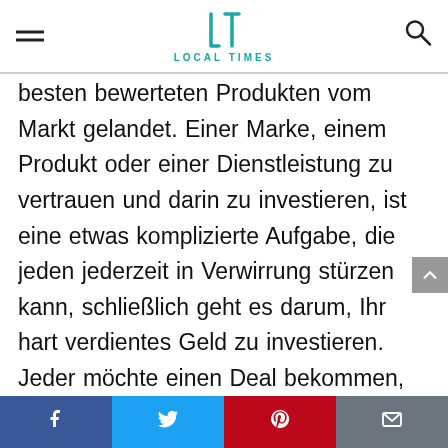LOCAL TIMES
besten bewerteten Produkten vom Markt gelandet. Einer Marke, einem Produkt oder einer Dienstleistung zu vertrauen und darin zu investieren, ist eine etwas komplizierte Aufgabe, die jeden jederzeit in Verwirrung stürzen kann, schließlich geht es darum, Ihr hart verdientes Geld zu investieren. Jeder möchte einen Deal bekommen, der ihnen nur dauerhafte und zuverlässige Ergebnisse liefern kann. Um Sie bei Ihrer Kaufentscheidung zu unterstützen, haben wir unsere harte Arbeit geleistet und fast 72 Requiem Of The Rose King auf dem Markt überprüft. Wir sind die detaillierten Funktionen und ihre Vor- und
Facebook Twitter Pinterest Email